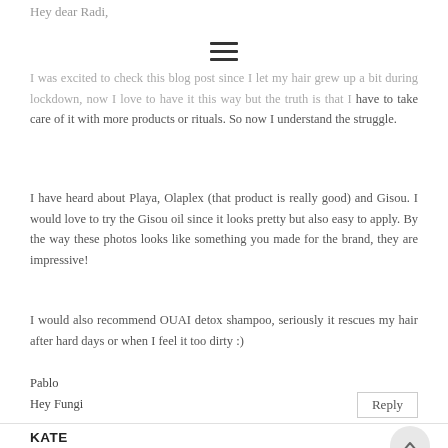Hey dear Radi,
[Figure (other): Hamburger menu icon (three horizontal lines)]
I was excited to check this blog post since I let my hair grew up a bit during lockdown, now I love to have it this way but the truth is that I have to take care of it with more products or rituals. So now I understand the struggle.
I have heard about Playa, Olaplex (that product is really good) and Gisou. I would love to try the Gisou oil since it looks pretty but also easy to apply. By the way these photos looks like something you made for the brand, they are impressive!
I would also recommend OUAI detox shampoo, seriously it rescues my hair after hard days or when I feel it too dirty :)
Pablo
Hey Fungi
Reply
KATE
APRIL 23, 2021 AT 2:29 AM
Great post! We would like to feature your post on Tropika Club too if